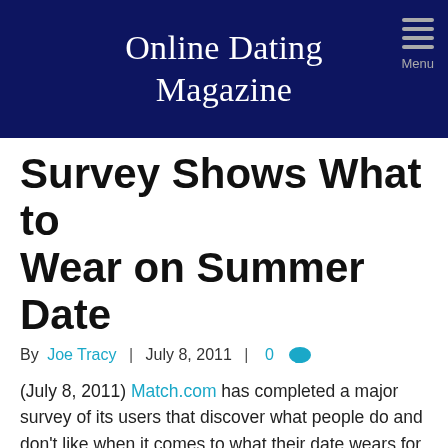Online Dating Magazine
Survey Shows What to Wear on Summer Date
By Joe Tracy | July 8, 2011 | 0
(July 8, 2011) Match.com has completed a major survey of its users that discover what people do and don't like when it comes to what their date wears for a summer date. The results?
Hawaiian shirts on men – out